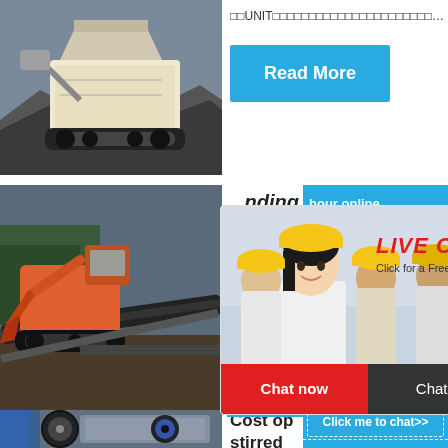[Figure (photo): Mobile crusher/mining equipment on rocky terrain]
□□UNIT□□□□□□□□□□□□□□□□□□□□□□…
[Figure (other): Read More button in blue]
[Figure (photo): Orange excavator on construction site with conveyor belts]
…nding
hour online
[Figure (photo): Industrial jaw crusher machinery]
[Figure (screenshot): Live Chat overlay with woman in hard hat, Chat now and Chat later buttons]
Read
Click me to chat>>
Enquiry
limingjlmofen
[Figure (photo): Industrial machinery/crusher at bottom]
Cost op
stirred